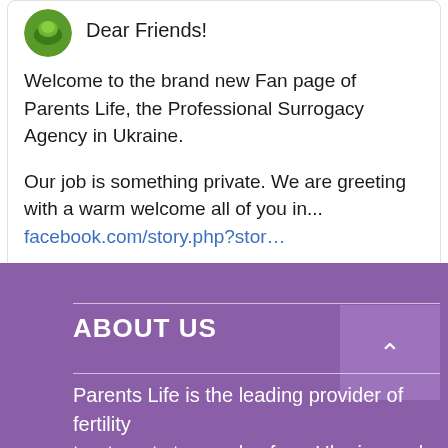Dear Friends!
Welcome to the brand new Fan page of Parents Life, the Professional Surrogacy Agency in Ukraine.
Our job is something private. We are greeting with a warm welcome all of you in... facebook.com/story.php?stor…
ABOUT US
Parents Life is the leading provider of fertility treatments to couples from Ukraine and abroad since